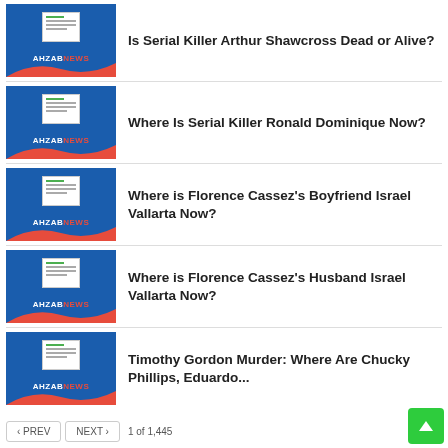Is Serial Killer Arthur Shawcross Dead or Alive?
Where Is Serial Killer Ronald Dominique Now?
Where is Florence Cassez's Boyfriend Israel Vallarta Now?
Where is Florence Cassez's Husband Israel Vallarta Now?
Timothy Gordon Murder: Where Are Chucky Phillips, Eduardo...
< PREV   NEXT >   1 of 1,445